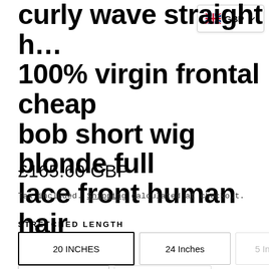curly wave straight h... 100% virgin frontal cheap bob short wig blonde full lace front human hair wigs
£165.60 GBP
Tax included. Shipping calculated at checkout.
STRETCHED LENGTH
20 INCHES
24 Inches
5 Inches
22Inches
26 Inches
COLOR